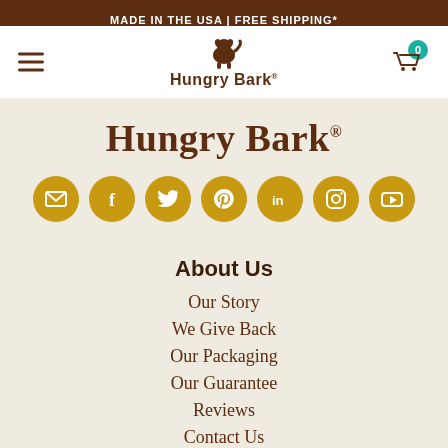MADE IN THE USA | FREE SHIPPING*
[Figure (logo): Hungry Bark logo with dog icon and text 'Hungry Bark']
Hungry Bark
[Figure (infographic): Row of 7 golden social media icons: email, Facebook, Twitter, Pinterest, LinkedIn, Instagram, YouTube]
About Us
Our Story
We Give Back
Our Packaging
Our Guarantee
Reviews
Contact Us